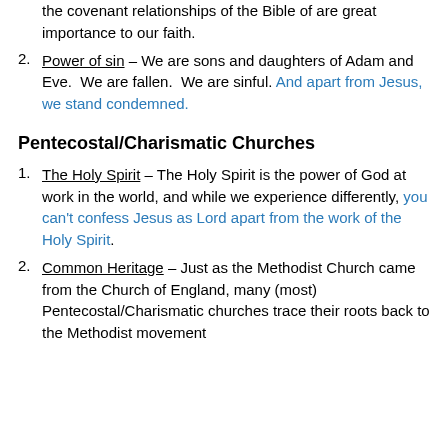the covenant relationships of the Bible of are great importance to our faith.
Power of sin – We are sons and daughters of Adam and Eve.  We are fallen.  We are sinful. And apart from Jesus, we stand condemned.
Pentecostal/Charismatic Churches
The Holy Spirit – The Holy Spirit is the power of God at work in the world, and while we experience differently, you can't confess Jesus as Lord apart from the work of the Holy Spirit.
Common Heritage – Just as the Methodist Church came from the Church of England, many (most) Pentecostal/Charismatic churches trace their roots back to the Methodist movement